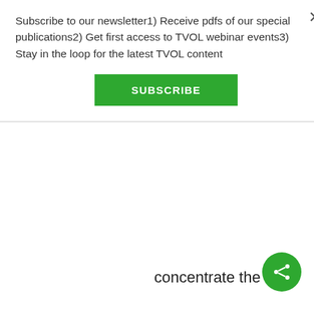Subscribe to our newsletter1) Receive pdfs of our special publications2) Get first access to TVOL webinar events3) Stay in the loop for the latest TVOL content
[Figure (other): Green SUBSCRIBE button]
concentrate the population – you only need to cultivate fields in the immediate vicinity of the village, rather than spreading out over
[Figure (other): Green circular share icon button]